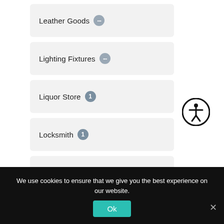Leather Goods ...
Lighting Fixtures ...
Liquor Store 1
Locksmith 1
Lodging 5
Lounge 3
Manufacturing ...
[Figure (illustration): Accessibility icon — circle with human figure silhouette]
We use cookies to ensure that we give you the best experience on our website.
Ok